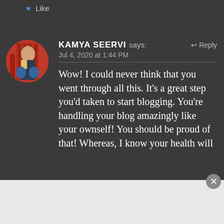me leaving WP post.😅
★ Like
KAMYA SEERVI says:   ↩ Reply
Jul 4, 2020 at 1:44 PM
Wow! I could never think that you went through all this. It's a great step you'd taken to start blogging. You're handling your blog amazingly like your ownself! You should be proud of that! Whereas, I know your health will
Advertisements
AUTOMATTIC
Build a better web and a better world.